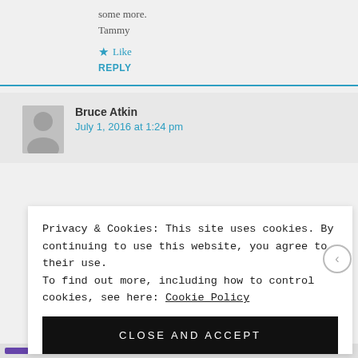some more.
Tammy
★ Like
REPLY
Bruce Atkin
July 1, 2016 at 1:24 pm
Privacy & Cookies: This site uses cookies. By continuing to use this website, you agree to their use. To find out more, including how to control cookies, see here: Cookie Policy
CLOSE AND ACCEPT